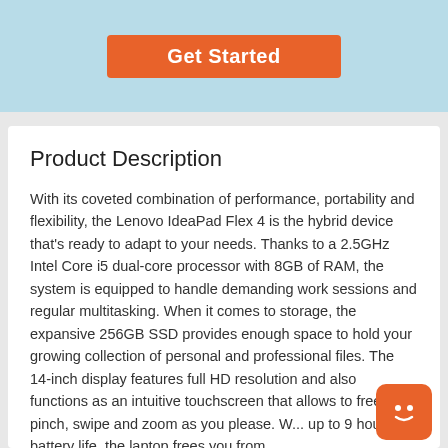[Figure (screenshot): Orange 'Get Started' button on light blue background]
Product Description
With its coveted combination of performance, portability and flexibility, the Lenovo IdeaPad Flex 4 is the hybrid device that's ready to adapt to your needs. Thanks to a 2.5GHz Intel Core i5 dual-core processor with 8GB of RAM, the system is equipped to handle demanding work sessions and regular multitasking. When it comes to storage, the expansive 256GB SSD provides enough space to hold your growing collection of personal and professional files. The 14-inch display features full HD resolution and also functions as an intuitive touchscreen that allows to freely pinch, swipe and zoom as you please. W... up to 9 hours of battery life, the laptop frees you from
[Figure (illustration): Orange chat widget icon with smiley face in bottom right corner]